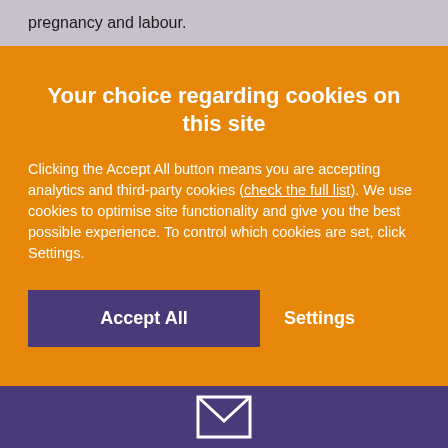pregnancy and labour.
Your choice regarding cookies on this site
Clicking the Accept All button means you are accepting analytics and third-party cookies (check the full list). We use cookies to optimise site functionality and give you the best possible experience. To control which cookies are set, click Settings.
[Figure (screenshot): Accept All button (purple) and Settings button (white text on orange background)]
[Figure (illustration): Envelope/mail icon in white on purple background footer bar]